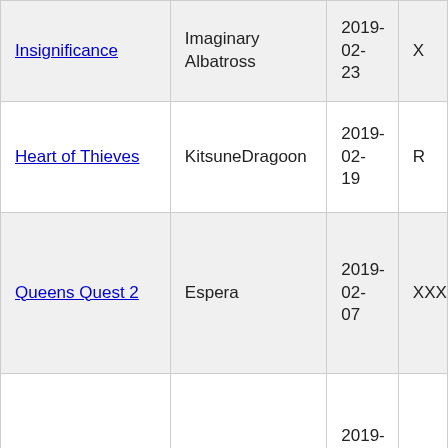| Insignificance | Imaginary Albatross | 2019-02-23 | X |
| Heart of Thieves | KitsuneDragoon | 2019-02-19 | R |
| Queens Quest 2 | Espera | 2019-02-07 | XXX |
| MyAmorette | cppietime | 2019-02-05 | PG |
| Calibration Error Zero | ApolloSeven | 2019-02-01 | X |
|  |  |  |  |